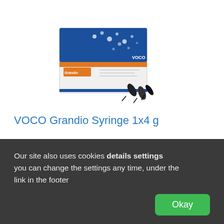[Figure (photo): Product photo of VOCO Grandio Syringe box with dental composite syringes in front, showing blue/white/orange packaging.]
VOCO Grandio Syringe 1x4 g
Price (Gross): 78,09 EUR
For order
Our site also uses cookies details settings you can change the settings any time, under the link in the footer